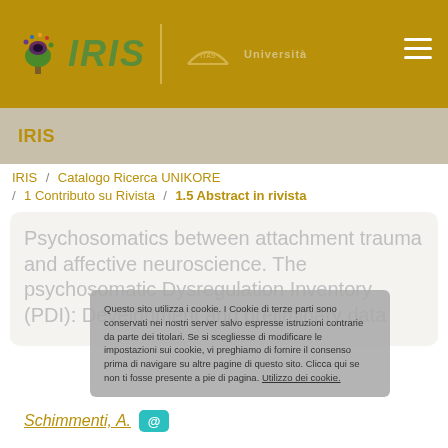IRIS | Università
IRIS
IRIS / Catalogo Ricerca UNIKORE / 1 Contributo su Rivista / 1.5 Abstract in rivista
Psychosomatics between attachment trauma and affective neuroscience. The psychosomatic Dysregulation Inventory (PDI): Development and preliminary data
Questo sito utilizza i cookie. I Cookie di terze parti sono conservati nei nostri server salvo espresse istruzioni contrarie da parte dei titolari. Se si scegliesse di modificare le impostazioni sui cookie, vi preghiamo di fornire il consenso prima di navigare su altre pagine di questo sito. Clicca qui se non ti fosse presente a pie di pagina. Utilizzo dei cookie.
Schimmenti, A.